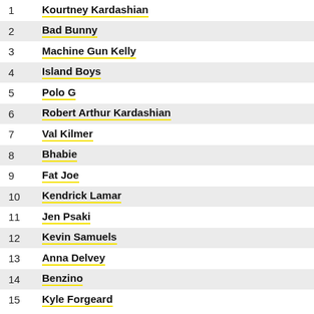1 Kourtney Kardashian
2 Bad Bunny
3 Machine Gun Kelly
4 Island Boys
5 Polo G
6 Robert Arthur Kardashian
7 Val Kilmer
8 Bhabie
9 Fat Joe
10 Kendrick Lamar
11 Jen Psaki
12 Kevin Samuels
13 Anna Delvey
14 Benzino
15 Kyle Forgeard